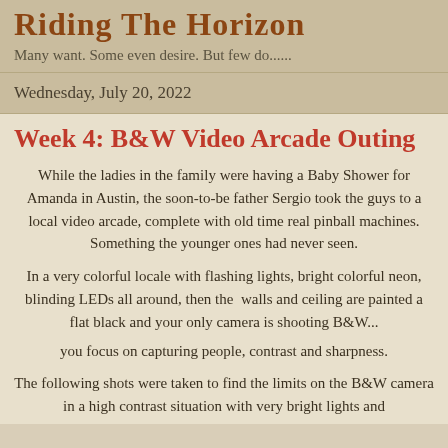Riding The Horizon
Many want. Some even desire. But few do......
Wednesday, July 20, 2022
Week 4: B&W Video Arcade Outing
While the ladies in the family were having a Baby Shower for Amanda in Austin, the soon-to-be father Sergio took the guys to a local video arcade, complete with old time real pinball machines. Something the younger ones had never seen.
In a very colorful locale with flashing lights, bright colorful neon, blinding LEDs all around, then the  walls and ceiling are painted a flat black and your only camera is shooting B&W...
you focus on capturing people, contrast and sharpness.
The following shots were taken to find the limits on the B&W camera in a high contrast situation with very bright lights and